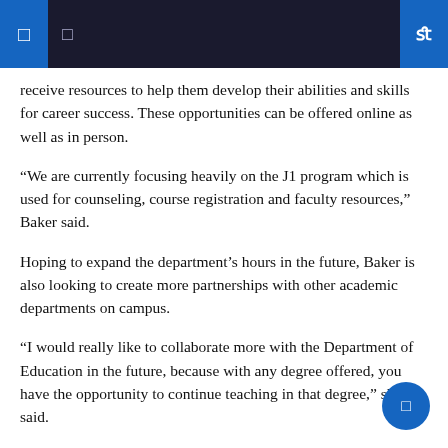receive resources to help them develop their abilities and skills for career success. These opportunities can be offered online as well as in person.
“We are currently focusing heavily on the J1 program which is used for counseling, course registration and faculty resources,” Baker said.
Hoping to expand the department’s hours in the future, Baker is also looking to create more partnerships with other academic departments on campus.
“I would really like to collaborate more with the Department of Education in the future, because with any degree offered, you have the opportunity to continue teaching in that degree,” she said.